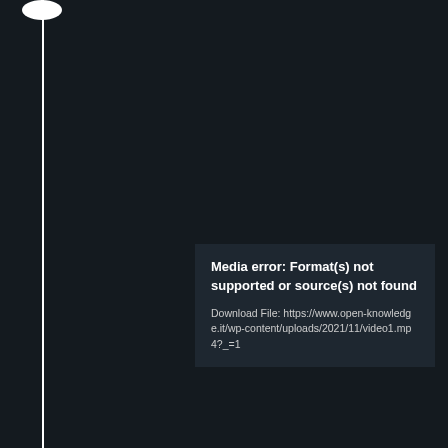[Figure (screenshot): Dark background video player interface with a white vertical timeline line and circular dot at top-left. A media error overlay box appears in the lower-center area showing error text and a download file URL.]
Media error: Format(s) not supported or source(s) not found
Download File: https://www.open-knowledge.it/wp-content/uploads/2021/11/video1.mp4?_=1